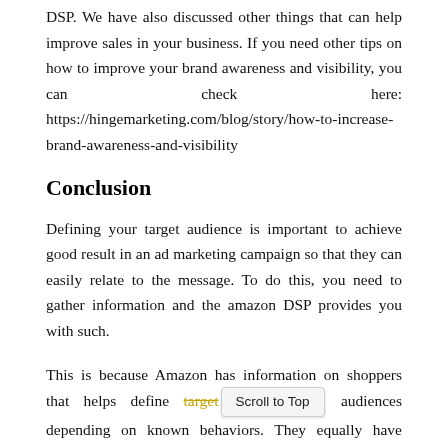DSP. We have also discussed other things that can help improve sales in your business. If you need other tips on how to improve your brand awareness and visibility, you can check here: https://hingemarketing.com/blog/story/how-to-increase-brand-awareness-and-visibility
Conclusion
Defining your target audience is important to achieve good result in an ad marketing campaign so that they can easily relate to the message. To do this, you need to gather information and the amazon DSP provides you with such.
This is because Amazon has information on shoppers that helps define target audiences depending on known behaviors. They equally have various websites